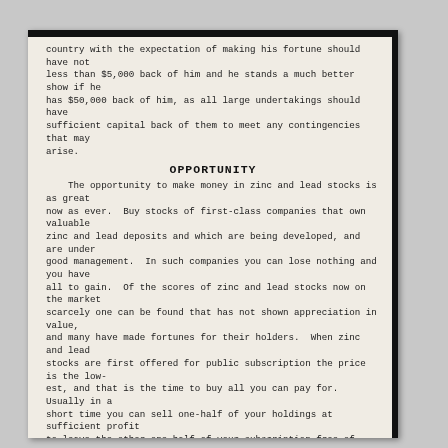country with the expectation of making his fortune should have not less than $5,000 back of him and he stands a much better show if he has $50,000 back of him, as all large undertakings should have sufficient capital back of them to meet any contingencies that may arise.
OPPORTUNITY
The opportunity to make money in zinc and lead stocks is as great now as ever. Buy stocks of first-class companies that own valuable zinc and lead deposits and which are being developed, and are under good management. In such companies you can lose nothing and you have all to gain. Of the scores of zinc and lead stocks now on the market scarcely one can be found that has not shown appreciation in value, and many have made fortunes for their holders. When zinc and lead stocks are first offered for public subscription the price is the lowest, and that is the time to buy all you can pay for. Usually in a short time you can sell one-half of your holdings at sufficient profit to leave the other one-half of your subscription free of cost.
The Wright Zinc and Lead Company offers you such an opportunity today. The Company is young and vigorous, with unlimited quantities of ore in sight and the price of the stock within the reach of all, and the management of the Company in competent hands.
ONLY 1500
shares of the capital stock of the Wright Zinc and Lead Company remain unsold. Those who contemplate investing in our Company should do so at once, as these original shares will soon be taken.
This Company will need considerable money in a short time to pay for the erection of mills, and it desires to place the remaining 1500 shares at once.
UNTIL MARCH 10th
these shares are offered to the public on the following terms:
    $2.00 with the application to reserve any number of shares that